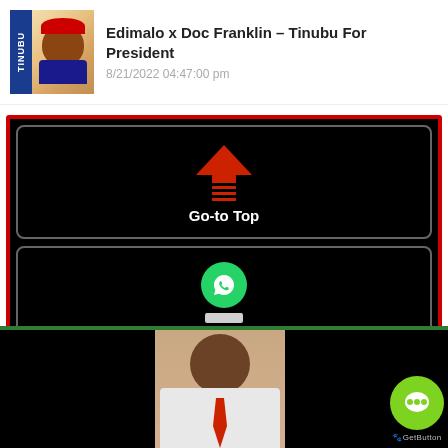[Figure (screenshot): Header with thumbnail image showing a stylized portrait of a man with a red cap next to a 'TINUBU' text graphic, title 'Edimalo x Doc Franklin – Tinubu For President', date '8/21/2022 04:47:00 pm']
Edimalo x Doc Franklin – Tinubu For President
8/21/2022 04:47:00 pm
[Figure (screenshot): Black button with red arrow 'Go-to top' icon and label 'Go-to Top', inside a red-bordered box]
[Figure (screenshot): Black button with green WhatsApp icon and label 'Message the Admin', inside a red-bordered box]
[Figure (photo): Bottom section showing a young man in white shirt and red tie against a peach background, flanked by black panels, with a green GetButton chat bubble in the lower right]